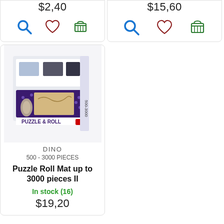$2,40
[Figure (screenshot): Row of icons: blue magnifying glass, dark red heart outline, green shopping cart]
$15,60
[Figure (screenshot): Row of icons: blue magnifying glass, dark red heart outline, green shopping cart]
[Figure (photo): Photo of Dino Puzzle Roll Mat product box showing a rolled puzzle mat with purple border]
DINO
500 - 3000 PIECES
Puzzle Roll Mat up to 3000 pieces II
In stock (16)
$19,20